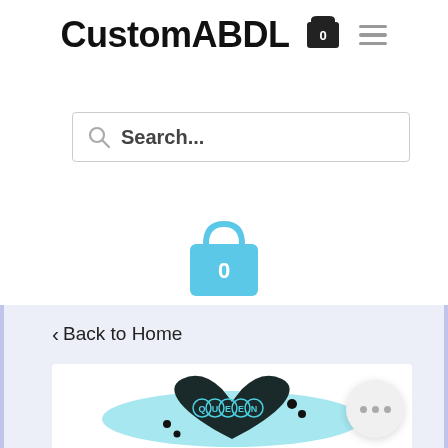CustomABDL
Search...
[Figure (illustration): Light blue shopping bag icon with the number 0 on it]
< Back to Home
[Figure (photo): Black resin heart-shaped item with 'QUEEN' spelled in teal letter beads, surrounded by blue rhinestones and black beads]